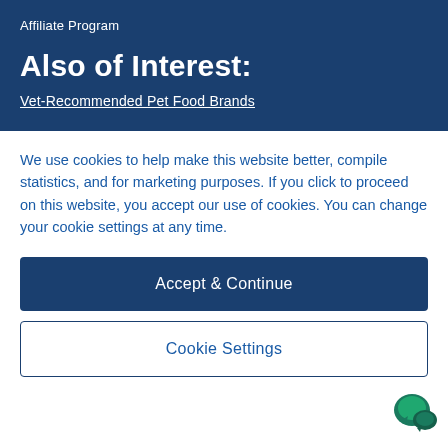Affiliate Program
Also of Interest:
Vet-Recommended Pet Food Brands
We use cookies to help make this website better, compile statistics, and for marketing purposes. If you click to proceed on this website, you accept our use of cookies. You can change your cookie settings at any time.
Accept & Continue
Cookie Settings